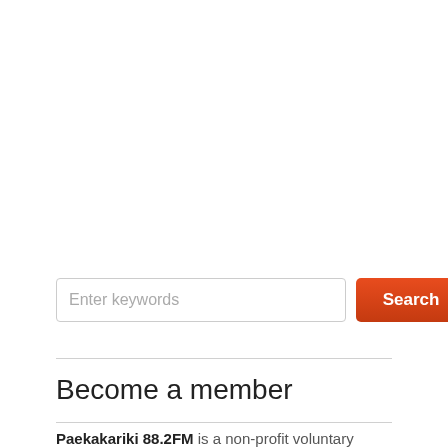[Figure (screenshot): Search input field with placeholder 'Enter keywords' and a red 'Search' button]
Become a member
Paekakariki 88.2FM is a non-profit voluntary organisation and relies on the community's contributions in terms of time